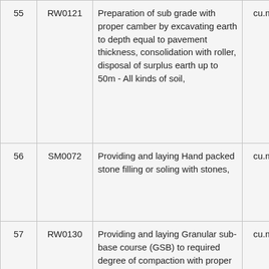| # | Code | Description | Unit | Qty |
| --- | --- | --- | --- | --- |
| 55 | RW0121 | Preparation of sub grade with proper camber by excavating earth to depth equal to pavement thickness, consolidation with roller, disposal of surplus earth up to 50m - All kinds of soil, | cu.m | 129.0 |
| 56 | SM0072 | Providing and laying Hand packed stone filling or soling with stones, | cu.m | 129.0 |
| 57 | RW0130 | Providing and laying Granular sub-base course (GSB) to required degree of compaction with proper formation of cross fall using motor grader for being subsequently used... | cu.m | 86.0 |